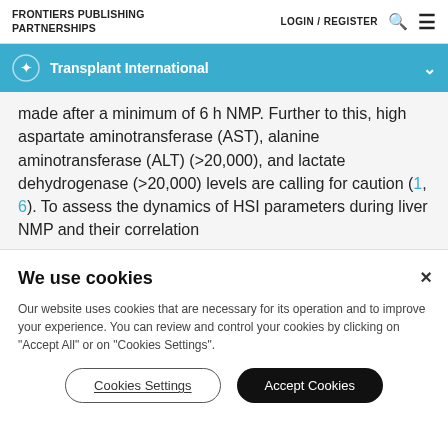FRONTIERS PUBLISHING PARTNERSHIPS
LOGIN / REGISTER
Transplant International
made after a minimum of 6 h NMP. Further to this, high aspartate aminotransferase (AST), alanine aminotransferase (ALT) (>20,000), and lactate dehydrogenase (>20,000) levels are calling for caution (1, 6). To assess the dynamics of HSI parameters during liver NMP and their correlation
We use cookies
Our website uses cookies that are necessary for its operation and to improve your experience. You can review and control your cookies by clicking on "Accept All" or on "Cookies Settings".
Cookies Settings
Accept Cookies